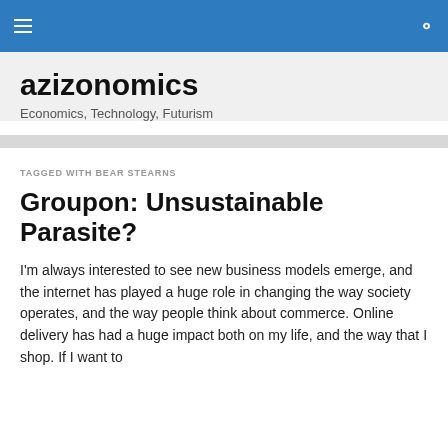≡  🔍
azizonomics
Economics, Technology, Futurism
TAGGED WITH BEAR STEARNS
Groupon: Unsustainable Parasite?
I'm always interested to see new business models emerge, and the internet has played a huge role in changing the way society operates, and the way people think about commerce. Online delivery has had a huge impact both on my life, and the way that I shop. If I want to